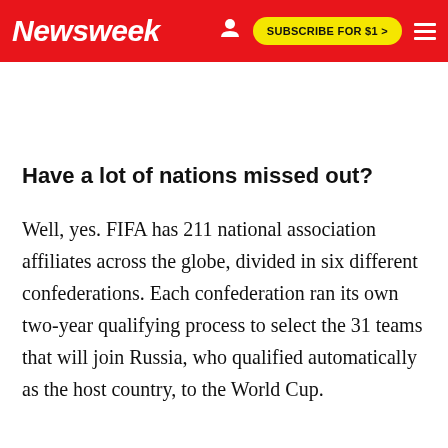Newsweek | SUBSCRIBE FOR $1 >
Have a lot of nations missed out?
Well, yes. FIFA has 211 national association affiliates across the globe, divided in six different confederations. Each confederation ran its own two-year qualifying process to select the 31 teams that will join Russia, who qualified automatically as the host country, to the World Cup.